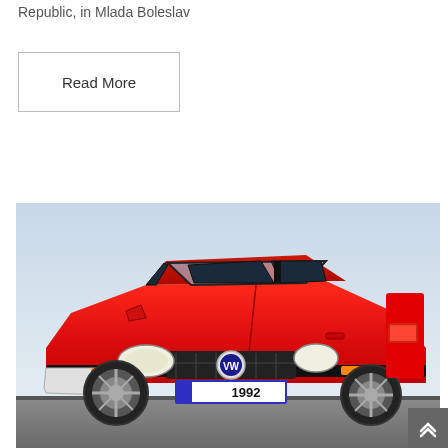Republic, in Mlada Boleslav
Read More
[Figure (photo): A red Volkswagen Golf Mk3 hatchback with UK license plate reading '1992', photographed from a front three-quarter angle against a light grey sky background.]